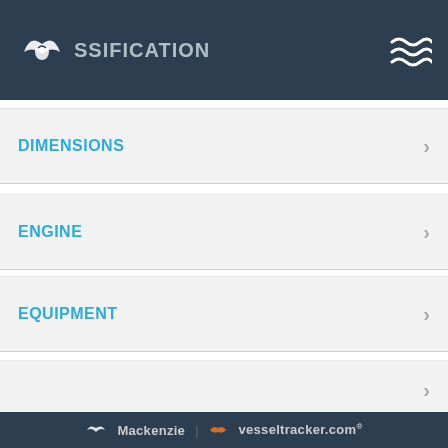SSIFICATION
DIMENSIONS
ENGINE
EQUIPMENT
We use cookies to improve your experience. We take your privacy very seriously. Please see our privacy policy for details and any questions.
Learn more
Opt-out
Allow cookies
Mackenzie | vesseltracker.com